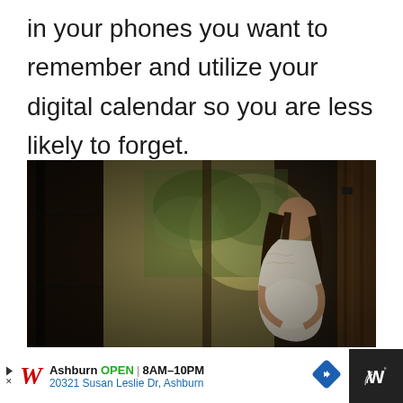in your phones you want to remember and utilize your digital calendar so you are less likely to forget.
[Figure (photo): A pregnant woman in a white lace dress standing in a doorway, leaning against a wooden wall, looking down and cradling her baby bump. The scene is backlit with natural light coming through a window showing greenery outside. The lighting is dramatic with dark shadows on either side.]
Ashburn OPEN 8AM–10PM 20321 Susan Leslie Dr, Ashburn